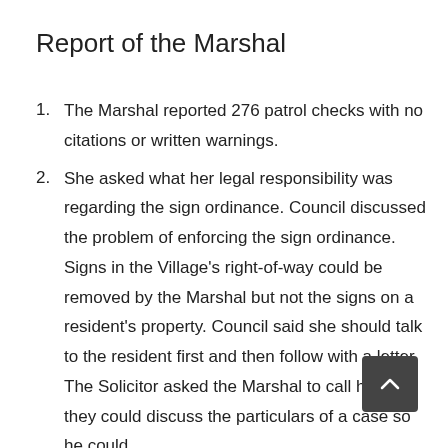Report of the Marshal
The Marshal reported 276 patrol checks with no citations or written warnings.
She asked what her legal responsibility was regarding the sign ordinance. Council discussed the problem of enforcing the sign ordinance. Signs in the Village's right-of-way could be removed by the Marshal but not the signs on a resident's property. Council said she should talk to the resident first and then follow with a letter. The Solicitor asked the Marshal to call him so they could discuss the particulars of a case so he could